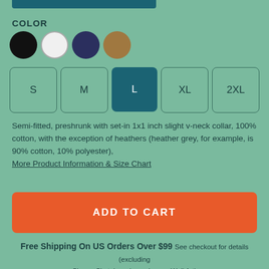COLOR
[Figure (other): Four color swatches: black, white, navy, tan]
[Figure (other): Size selector buttons: S, M, L (selected), XL, 2XL]
Semi-fitted, preshrunk with set-in 1x1 inch slight v-neck collar, 100% cotton, with the exception of heathers (heather grey, for example, is 90% cotton, 10% polyester),
More Product Information & Size Chart
[Figure (other): ADD TO CART button in orange-red]
Free Shipping On US Orders Over $99 See checkout for details (excluding Shoes, Skateboards, and some Wall Art)
About the Design
Frog, from the AlphaPod collection, is a hand-drawn, digitally